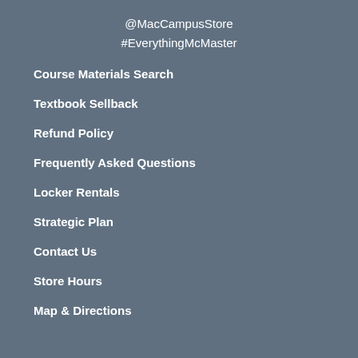@MacCampusStore
#EverythingMcMaster
Course Materials Search
Textbook Sellback
Refund Policy
Frequently Asked Questions
Locker Rentals
Strategic Plan
Contact Us
Store Hours
Map & Directions